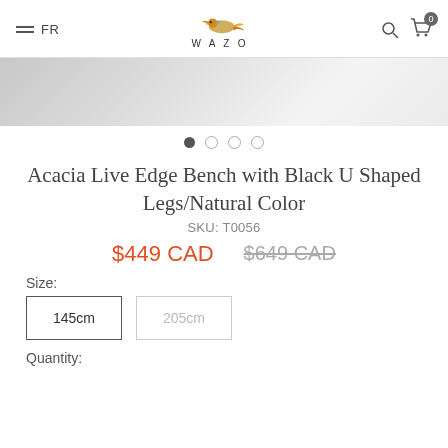FR  WAZO  (search) (cart 0)
[Figure (photo): Product hero image area showing a light grey/silver background, likely a cropped product photo]
● ○ ○ ○
Acacia Live Edge Bench with Black U Shaped Legs/Natural Color
SKU: T0056
$449 CAD   $649 CAD
Size:
145cm   205cm
Quantity: